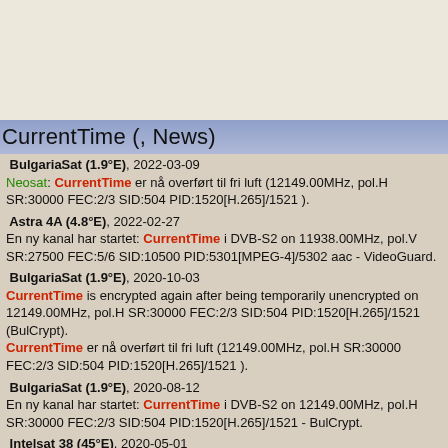CurrentTime (, News)
BulgariaSat (1.9°E), 2022-03-09
Neosat: CurrentTime er nå overført til fri luft (12149.00MHz, pol.H SR:30000 FEC:2/3 SID:504 PID:1520[H.265]/1521 ).
Astra 4A (4.8°E), 2022-02-27
En ny kanal har startet: CurrentTime i DVB-S2 on 11938.00MHz, pol.V SR:27500 FEC:5/6 SID:10500 PID:5301[MPEG-4]/5302 aac - VideoGuard.
BulgariaSat (1.9°E), 2020-10-03
CurrentTime is encrypted again after being temporarily unencrypted on 12149.00MHz, pol.H SR:30000 FEC:2/3 SID:504 PID:1520[H.265]/1521 (BulCrypt).
CurrentTime er nå overført til fri luft (12149.00MHz, pol.H SR:30000 FEC:2/3 SID:504 PID:1520[H.265]/1521 ).
BulgariaSat (1.9°E), 2020-08-12
En ny kanal har startet: CurrentTime i DVB-S2 on 12149.00MHz, pol.H SR:30000 FEC:2/3 SID:504 PID:1520[H.265]/1521 - BulCrypt.
Intelsat 38 (45°E), 2020-05-01
Vivacom: En ny kanal har startet: CurrentTime i DVB-S2 on 11475.00MHz, pol.V SR:30000 FEC:5/6 SID:5042 PID:5142[MPEG-4]/5242 aac - Irdeto 2 &